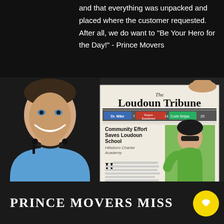and that everything was unpacked and placed where the customer requested.  After all, we do want to "Be Your Hero for the Day!" - Prince Movers
[Figure (photo): A smiling man in a blue shirt holding up a copy of The Loudoun Tribune newspaper. The newspaper headline reads 'Community Effort Saves Loudoun School - Hillsboro Charter Academy' with 'MOVING SUPERHEROES' visible at the bottom. Navigation pills show 'Dr. Mike', 'Radon Explained 14', 'Code Ninjas 20'.]
PRINCE MOVERS MISSION